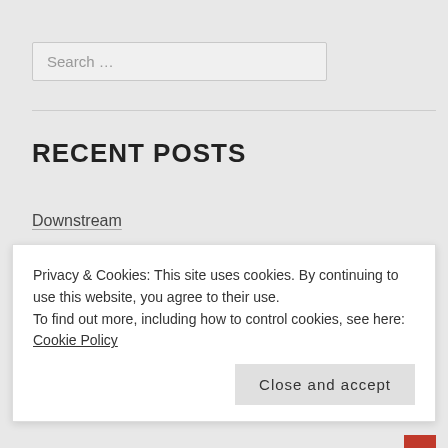Search …
RECENT POSTS
Downstream
Tides
Feathers
What Sport?
As Grass Are We
Privacy & Cookies: This site uses cookies. By continuing to use this website, you agree to their use.
To find out more, including how to control cookies, see here: Cookie Policy
Close and accept